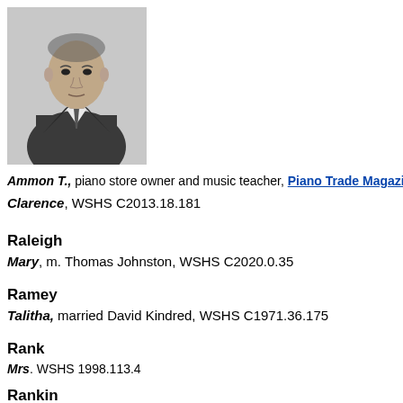[Figure (photo): Black and white portrait photograph of a man in a suit, facing slightly to the side.]
Ammon T., piano store owner and music teacher, Piano Trade Magazine Clarence, WSHS C2013.18.181
Raleigh
Mary, m. Thomas Johnston, WSHS C2020.0.35
Ramey
Talitha, married David Kindred, WSHS C1971.36.175
Rank
Mrs. WSHS 1998.113.4
Rankin